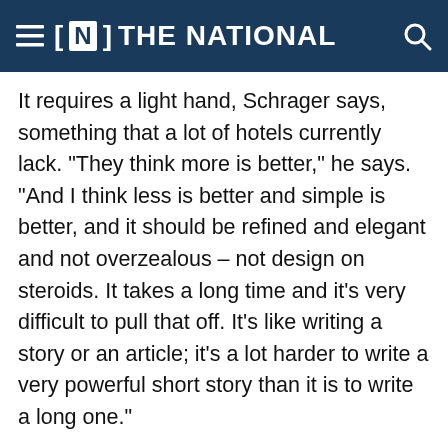[N] THE NATIONAL
It requires a light hand, Schrager says, something that a lot of hotels currently lack. "They think more is better," he says. "And I think less is better and simple is better, and it should be refined and elegant and not overzealous – not design on steroids. It takes a long time and it's very difficult to pull that off. It's like writing a story or an article; it's a lot harder to write a very powerful short story than it is to write a long one."
Edition Abu Dhabi
Schrager has distilled this approach, albeit on a larger scale, with Edition Hotels, a collaboration with Marriott International, that